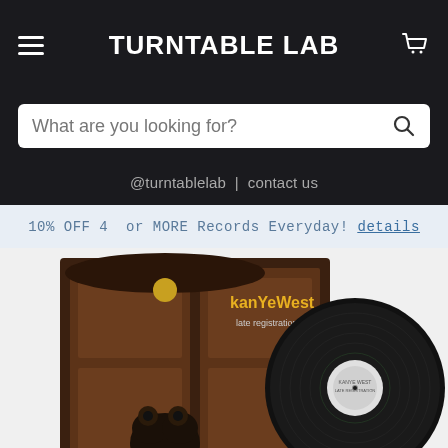TURNTABLE LAB
What are you looking for?
@turntablelab | contact us
10% OFF 4 or MORE Records Everyday! details
[Figure (photo): Kanye West Late Registration vinyl record album cover with black vinyl disc partially visible behind the sleeve. The album cover shows a bear mascot in front of ornate wooden doors. Text on cover reads 'kanYeWest late registration'.]